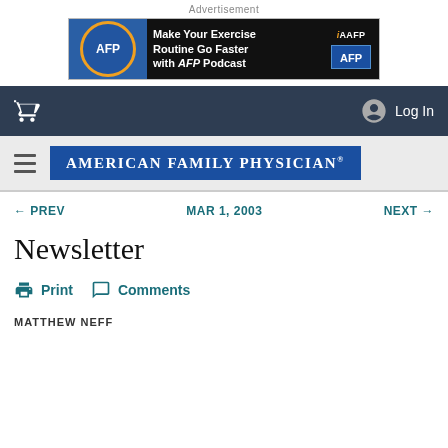Advertisement
[Figure (illustration): AFP Podcast advertisement banner: blue background with AFP logo (orange headphones), text 'Make Your Exercise Routine Go Faster with AFP Podcast', AAFP and AFP logos on right]
Log In
[Figure (logo): American Family Physician journal logo on blue background]
← PREV   MAR 1, 2003   NEXT →
Newsletter
Print   Comments
MATTHEW NEFF